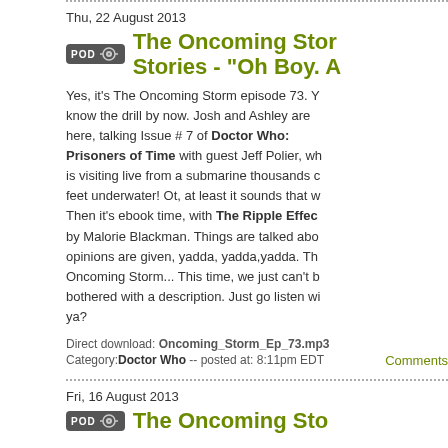Thu, 22 August 2013
The Oncoming Storm Stories - "Oh Boy. A...
Yes, it's The Oncoming Storm episode 73. You know the drill by now. Josh and Ashley are here, talking Issue # 7 of Doctor Who: Prisoners of Time with guest Jeff Polier, who is visiting live from a submarine thousands of feet underwater! Ot, at least it sounds that way. Then it's ebook time, with The Ripple Effect by Malorie Blackman. Things are talked about, opinions are given, yadda, yadda,yadda. The Oncoming Storm... This time, we just can't be bothered with a description. Just go listen will ya?
Direct download: Oncoming_Storm_Ep_73.mp3
Category:Doctor Who -- posted at: 8:11pm EDT
Comments...
Fri, 16 August 2013
The Oncoming Stor...